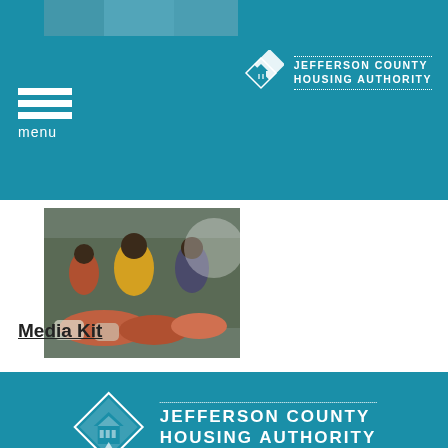[Figure (screenshot): Teal header bar with hamburger menu icon and 'menu' label on left, Jefferson County Housing Authority logo on right]
[Figure (photo): Outdoor market scene with people browsing produce and goods]
Media Kit
[Figure (logo): Large Jefferson County Housing Authority logo on teal background]
[Figure (logo): JCHA Housing and Development Corp. logo on teal background]